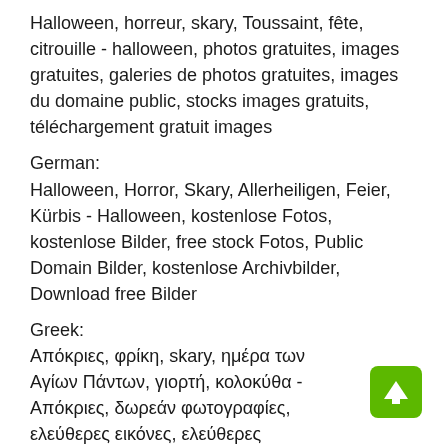Halloween, horreur, skary, Toussaint, fête, citrouille - halloween, photos gratuites, images gratuites, galeries de photos gratuites, images du domaine public, stocks images gratuits, téléchargement gratuit images
German:
Halloween, Horror, Skary, Allerheiligen, Feier, Kürbis - Halloween, kostenlose Fotos, kostenlose Bilder, free stock Fotos, Public Domain Bilder, kostenlose Archivbilder, Download free Bilder
Greek:
Απόκριες, φρίκη, skary, ημέρα των Αγίων Πάντων, γιορτή, κολοκύθα - Απόκριες, δωρεάν φωτογραφίες, ελεύθερες εικόνες, ελεύθερες φωτογραφίες αποθεμάτων, δημόσιο τομέα εικόνες, δωρεάν εικόνες αποθήκη, κατεβάσετε δωρεάν εικόνες
Hebrew: